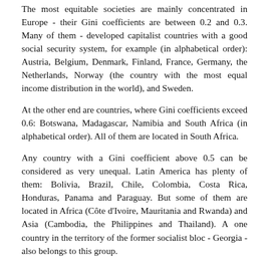The most equitable societies are mainly concentrated in Europe - their Gini coefficients are between 0.2 and 0.3. Many of them - developed capitalist countries with a good social security system, for example (in alphabetical order): Austria, Belgium, Denmark, Finland, France, Germany, the Netherlands, Norway (the country with the most equal income distribution in the world), and Sweden.
At the other end are countries, where Gini coefficients exceed 0.6: Botswana, Madagascar, Namibia and South Africa (in alphabetical order). All of them are located in South Africa.
Any country with a Gini coefficient above 0.5 can be considered as very unequal. Latin America has plenty of them: Bolivia, Brazil, Chile, Colombia, Costa Rica, Honduras, Panama and Paraguay. But some of them are located in Africa (Côte d'Ivoire, Mauritania and Rwanda) and Asia (Cambodia, the Philippines and Thailand). A one country in the territory of the former socialist bloc - Georgia - also belongs to this group.
Gini coefficients in most other countries are distributed between 0.3 and 0.5. The US and China are on the edge...